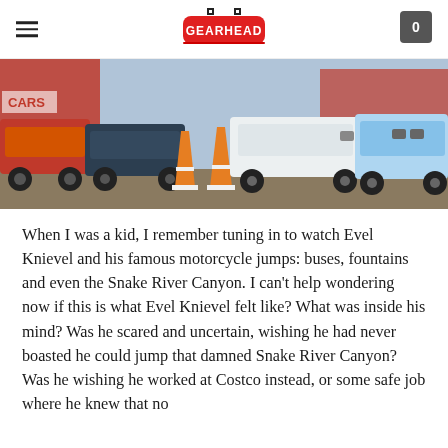GEARHEAD (logo)
[Figure (photo): Vintage cars lined up at what appears to be a car show or race event, with orange traffic cones in the foreground. Cars are light blue and white, parked in a row. Colorful banners visible in the background.]
When I was a kid, I remember tuning in to watch Evel Knievel and his famous motorcycle jumps: buses, fountains and even the Snake River Canyon. I can't help wondering now if this is what Evel Knievel felt like? What was inside his mind? Was he scared and uncertain, wishing he had never boasted he could jump that damned Snake River Canyon? Was he wishing he worked at Costco instead, or some safe job where he knew that no